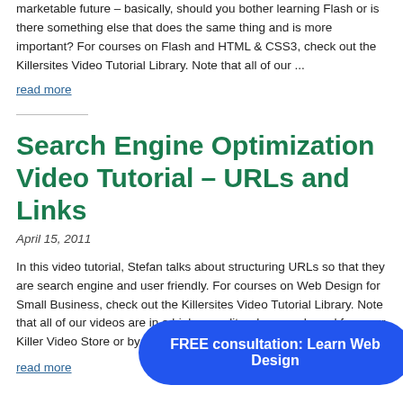marketable future – basically, should you bother learning Flash or is there something else that does the same thing and is more important? For courses on Flash and HTML & CSS3, check out the Killersites Video Tutorial Library. Note that all of our ...
read more
Search Engine Optimization Video Tutorial – URLs and Links
April 15, 2011
In this video tutorial, Stefan talks about structuring URLs so that they are search engine and user friendly. For courses on Web Design for Small Business, check out the Killersites Video Tutorial Library. Note that all of our videos are in a higher quality when purchased from our Killer Video Store or by subscription to ...
read more
FREE consultation: Learn Web Design